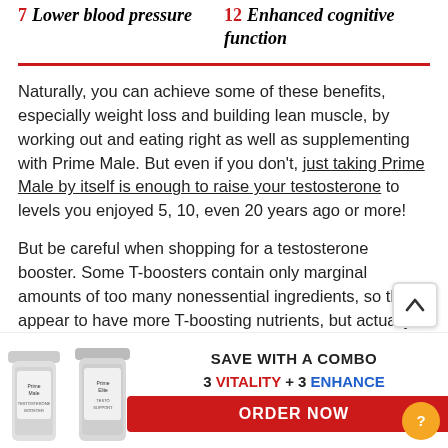7  Lower blood pressure
12  Enhanced cognitive function
Naturally, you can achieve some of these benefits, especially weight loss and building lean muscle, by working out and eating right as well as supplementing with Prime Male. But even if you don't, just taking Prime Male by itself is enough to raise your testosterone to levels you enjoyed 5, 10, even 20 years ago or more!
But be careful when shopping for a testosterone booster. Some T-boosters contain only marginal amounts of too many nonessential ingredients, so they appear to have more T-boosting nutrients, but actually the doses are too small to do you any good.
Ot... key... mo... An...
[Figure (infographic): Save with a combo banner: two Prime Male supplement bottles on the left, with text 'SAVE WITH A COMBO 3 VITALITY + 3 ENHANCE' and an ORDER NOW red button]
[Figure (other): Scroll up arrow button (chevron up icon in white box)]
[Figure (other): Orange help/question mark circle button]